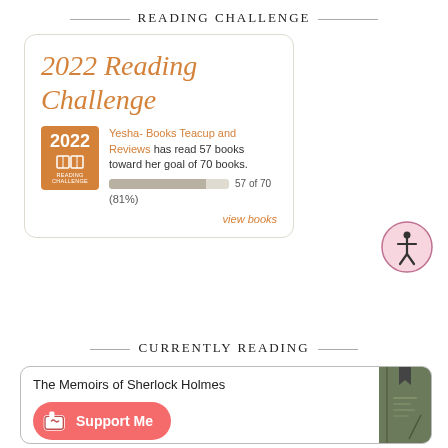READING CHALLENGE
[Figure (infographic): 2022 Reading Challenge card showing Yesha- Books Teacup and Reviews has read 57 books toward her goal of 70 books, 81% complete, with orange 2022 Reading Challenge badge and progress bar.]
[Figure (illustration): Pink circle accessibility icon with stick figure person inside]
CURRENTLY READING
The Memoirs of Sherlock Holmes
[Figure (illustration): Ko-fi Support Me button - red/coral rounded button with coffee cup heart icon and text Support Me]
[Figure (illustration): Green book cover for The Memoirs of Sherlock Holmes with a bookmark ribbon]